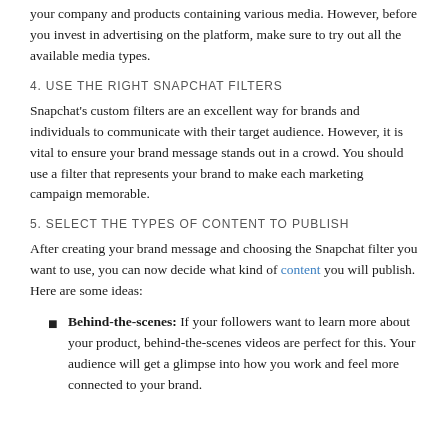your company and products containing various media. However, before you invest in advertising on the platform, make sure to try out all the available media types.
4. USE THE RIGHT SNAPCHAT FILTERS
Snapchat's custom filters are an excellent way for brands and individuals to communicate with their target audience. However, it is vital to ensure your brand message stands out in a crowd. You should use a filter that represents your brand to make each marketing campaign memorable.
5. SELECT THE TYPES OF CONTENT TO PUBLISH
After creating your brand message and choosing the Snapchat filter you want to use, you can now decide what kind of content you will publish. Here are some ideas:
Behind-the-scenes: If your followers want to learn more about your product, behind-the-scenes videos are perfect for this. Your audience will get a glimpse into how you work and feel more connected to your brand.